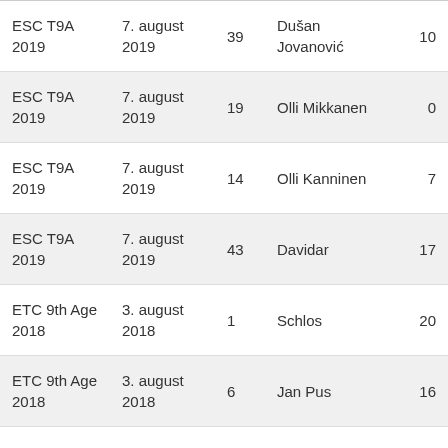| Tournament | Date | # | Player | Score |
| --- | --- | --- | --- | --- |
| ESC T9A 2019 | 7. august 2019 | 39 | Dušan Jovanović | 10 |
| ESC T9A 2019 | 7. august 2019 | 19 | Olli Mikkanen | 0 |
| ESC T9A 2019 | 7. august 2019 | 14 | Olli Kanninen | 7 |
| ESC T9A 2019 | 7. august 2019 | 43 | Davidar | 17 |
| ETC 9th Age 2018 | 3. august 2018 | 1 | Schlos | 20 |
| ETC 9th Age 2018 | 3. august 2018 | 6 | Jan Pus | 16 |